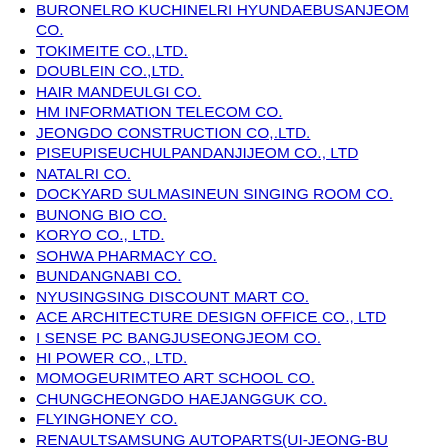BURONELRO KUCHINELRI HYUNDAEBUSANJEOM CO.
TOKIMEITE CO.,LTD.
DOUBLEIN CO.,LTD.
HAIR MANDEULGI CO.
HM INFORMATION TELECOM CO.
JEONGDO CONSTRUCTION CO,.LTD.
PISEUPISEUCHULPANDANJIJEOM CO., LTD
NATALRI CO.
DOCKYARD SULMASINEUN SINGING ROOM CO.
BUNONG BIO CO.
KORYO CO., LTD.
SOHWA PHARMACY CO.
BUNDANGNABI CO.
NYUSINGSING DISCOUNT MART CO.
ACE ARCHITECTURE DESIGN OFFICE CO., LTD
I SENSE PC BANGJUSEONGJEOM CO.
HI POWER CO., LTD.
MOMOGEURIMTEO ART SCHOOL CO.
CHUNGCHEONGDO HAEJANGGUK CO.
FLYINGHONEY CO.
RENAULTSAMSUNG AUTOPARTS(UI-JEONG-BU AGENCY)
GEON IN CONSTRUCTION CO.,LTD.
YIGOJIP OCELLATED OCTOPUS CO.
AHYUON ULTECH CO., LTD.